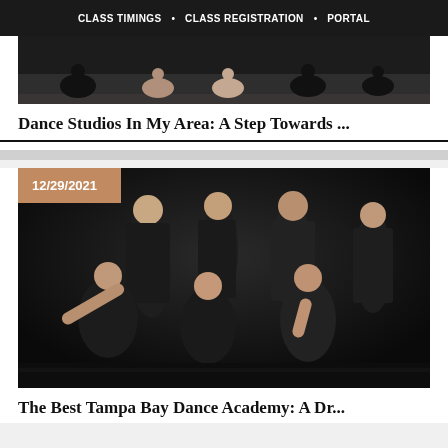CLASS TIMINGS • CLASS REGISTRATION • PORTAL
[Figure (photo): Dance students lying on a dark stage floor in performance costumes]
Dance Studios In My Area: A Step Towards ...
[Figure (photo): Group of young female dancers posing in black leotards against a dark background, with date badge 12/29/2021]
The Best Tampa Bay Dance Academy: A Dr...